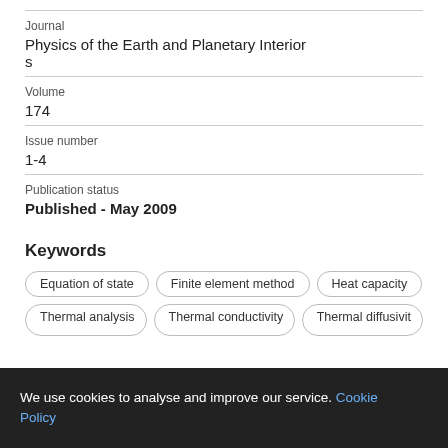Journal
Physics of the Earth and Planetary Interiors
Volume
174
Issue number
1-4
Publication status
Published - May 2009
Keywords
Equation of state
Finite element method
Heat capacity
Thermal analysis
Thermal conductivity
Thermal diffusivity
We use cookies to analyse and improve our service. Cookie Policy